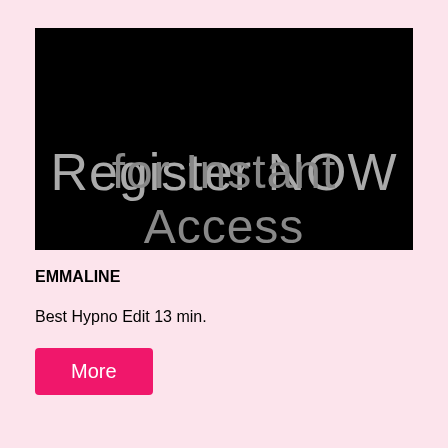[Figure (screenshot): Black background banner image with large gray text reading 'Register NOW for Instant Access' partially visible]
EMMALINE
Best Hypno Edit 13 min.
More